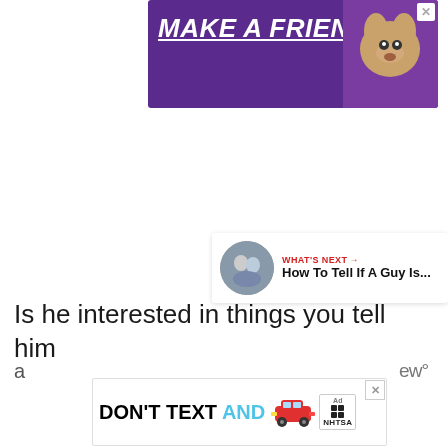[Figure (illustration): Purple advertisement banner reading 'MAKE A FRIEND' with italic bold white underlined text and a dog image on the right, close button top-right]
[Figure (infographic): Red circular heart/like button, number 18, and share button on right sidebar]
[Figure (infographic): 'WHAT'S NEXT →' label in red with 'How To Tell If A Guy Is...' text and circular thumbnail of couple]
Is he interested in things you tell him
[Figure (illustration): Bottom ad banner: 'DON'T TEXT AND' with red car image and NHTSA/ad badge, close button]